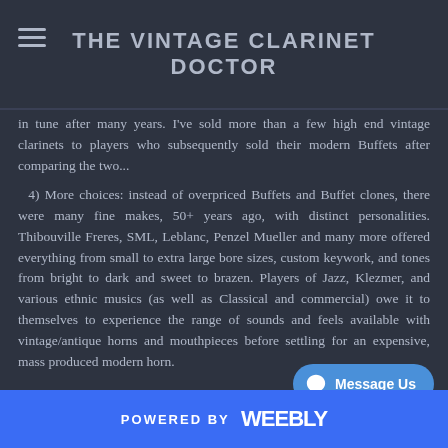THE VINTAGE CLARINET DOCTOR
in tune after many years. I've sold more than a few high end vintage clarinets to players who subsequently sold their modern Buffets after comparing the two...
4) More choices: instead of overpriced Buffets and Buffet clones, there were many fine makes, 50+ years ago, with distinct personalities. Thibouville Freres, SML, Leblanc, Penzel Mueller and many more offered everything from small to extra large bore sizes, custom keywork, and tones from bright to dark and sweet to brazen. Players of Jazz, Klezmer, and various ethnic musics (as well as Classical and commercial) owe it to themselves to experience the range of sounds and feels available with vintage/antique horns and mouthpieces before settling for an expensive, mass produced modern horn.
POWERED BY weebly